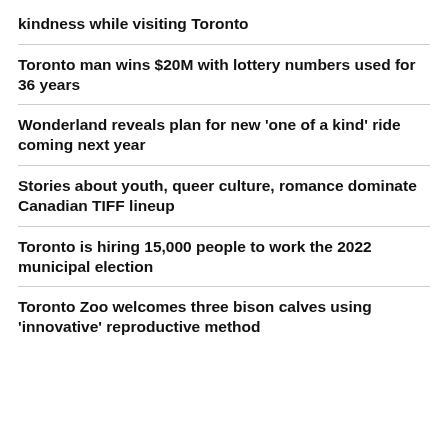kindness while visiting Toronto
Toronto man wins $20M with lottery numbers used for 36 years
Wonderland reveals plan for new 'one of a kind' ride coming next year
Stories about youth, queer culture, romance dominate Canadian TIFF lineup
Toronto is hiring 15,000 people to work the 2022 municipal election
Toronto Zoo welcomes three bison calves using 'innovative' reproductive method